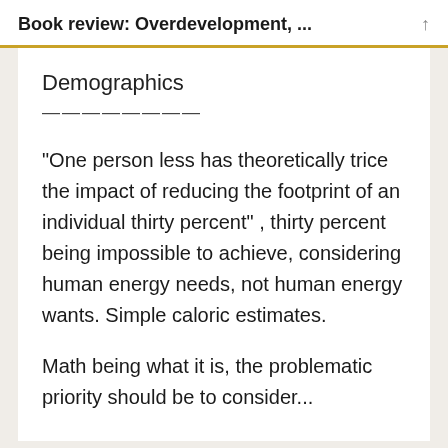Book review: Overdevelopment, ...
Demographics
————————
“One person less has theoretically trice the impact of reducing the footprint of an individual thirty percent” , thirty percent being impossible to achieve, considering human energy needs, not human energy wants. Simple caloric estimates.
Math being what it is, the problematic priority should be to consider...